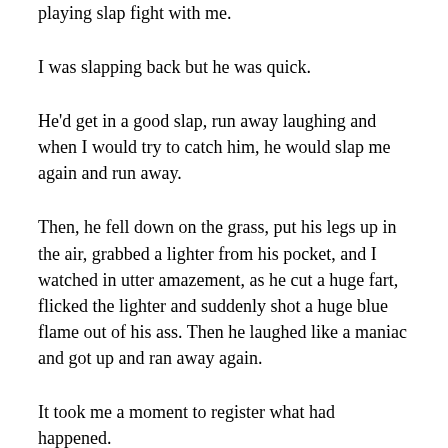playing slap fight with me.
I was slapping back but he was quick.
He'd get in a good slap, run away laughing and when I would try to catch him, he would slap me again and run away.
Then, he fell down on the grass, put his legs up in the air, grabbed a lighter from his pocket, and I watched in utter amazement, as he cut a huge fart, flicked the lighter and suddenly shot a huge blue flame out of his ass. Then he laughed like a maniac and got up and ran away again.
It took me a moment to register what had happened.
I was laughing so hard I could barely breathe.
He was dancing in little circles, thinking he was super